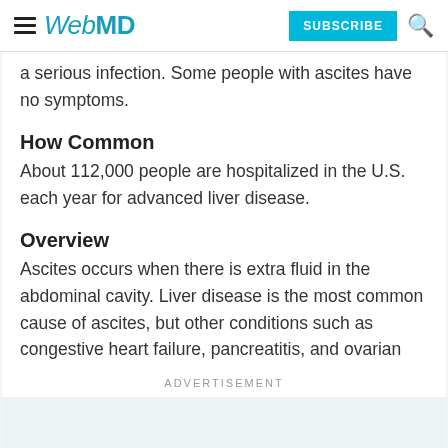WebMD — SUBSCRIBE
a serious infection. Some people with ascites have no symptoms.
How Common
About 112,000 people are hospitalized in the U.S. each year for advanced liver disease.
Overview
Ascites occurs when there is extra fluid in the abdominal cavity. Liver disease is the most common cause of ascites, but other conditions such as congestive heart failure, pancreatitis, and ovarian
ADVERTISEMENT